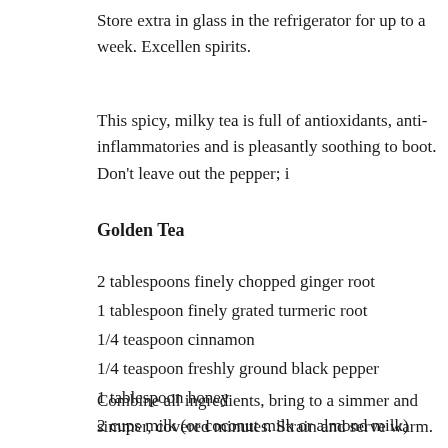Store extra in glass in the refrigerator for up to a week. Excellen spirits.
This spicy, milky tea is full of antioxidants, anti-inflammatories and is pleasantly soothing to boot. Don't leave out the pepper; i
Golden Tea
2 tablespoons finely chopped ginger root
1 tablespoon finely grated turmeric root
1/4 teaspoon cinnamon
1/4 teaspoon freshly ground black pepper
1 tablespoon honey
2 cups milk (or coconut milk or almond milk)
Combine all ingredients, bring to a simmer and simmer, covered minutes. Strain and serve warm. Serves 2.